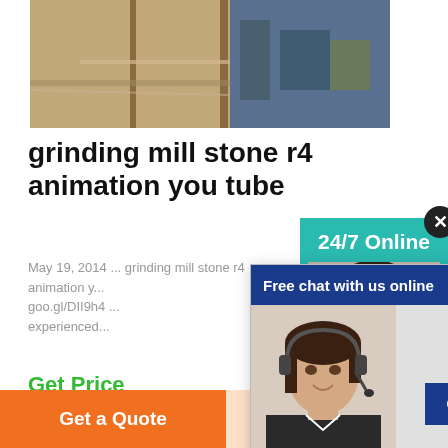[Figure (photo): Photo of a construction/mining site with equipment and machinery]
grinding mill stone r4 animation you tube
May 19, 2014 ... grinding mill stone r4 animation y...
goo.gl/DII9h4 ...
experienced...
Get Price
[Figure (screenshot): Live chat popup overlay with 'Free chat with us online' header, photo of female customer service agent with headset, and CHAT NOW button]
[Figure (screenshot): 24/7 Online sidebar widget with close button, photo of customer service agent, 'Have any requests, click here.' text and Quotation button]
[Figure (photo): Bottom photo of construction scaffolding/building structure]
Get a Quote
WhatsApp